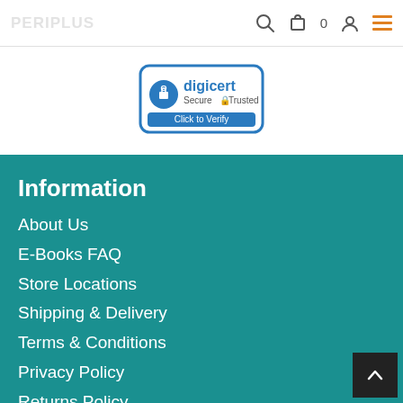[Figure (logo): DigiCert Secure Trusted badge with blue border, lock icon, and 'Click to Verify' text]
Information
About Us
E-Books FAQ
Store Locations
Shipping & Delivery
Terms & Conditions
Privacy Policy
Returns Policy
Periplus Elite Club (PEC)
Periplus Promise
Write Customer Review